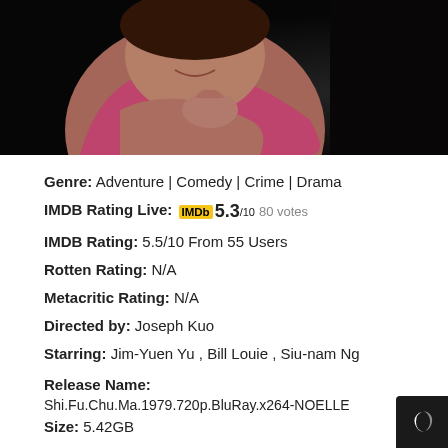[Figure (photo): Close-up photo of a person wearing a pink top, with dark background, partially cropped at the top.]
Genre: Adventure | Comedy | Crime | Drama
IMDB Rating Live: IMDb 5.3/10 80 votes
IMDB Rating: 5.5/10 From 55 Users
Rotten Rating: N/A
Metacritic Rating: N/A
Directed by: Joseph Kuo
Starring: Jim-Yuen Yu , Bill Louie , Siu-nam Ng
Release Name:
Shi.Fu.Chu.Ma.1979.720p.BluRay.x264-NOELLE
Size: 5.42GB